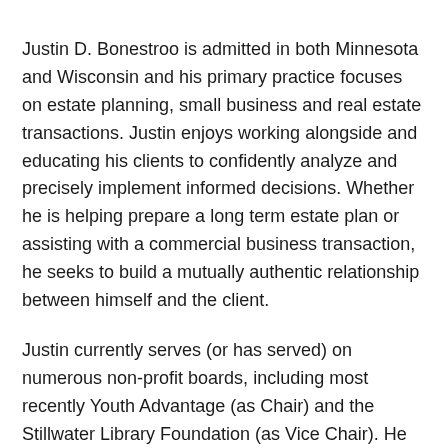Justin D. Bonestroo is admitted in both Minnesota and Wisconsin and his primary practice focuses on estate planning, small business and real estate transactions. Justin enjoys working alongside and educating his clients to confidently analyze and precisely implement informed decisions. Whether he is helping prepare a long term estate plan or assisting with a commercial business transaction, he seeks to build a mutually authentic relationship between himself and the client.
Justin currently serves (or has served) on numerous non-profit boards, including most recently Youth Advantage (as Chair) and the Stillwater Library Foundation (as Vice Chair). He also has served as a volunteer mentor, teacher, youth basketball coach, and currently serves on the Baytown Township Planning Commission. Justin was nominated by his peers for, and then named, a Five Star Professional™ for his